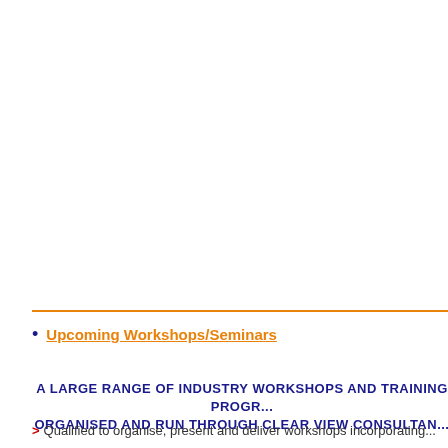Upcoming Workshops/Seminars
A LARGE RANGE OF INDUSTRY WORKSHOPS AND TRAINING PROGRAMMES ORGANISED AND RUN THROUGH CLEAR VIEW CONSULTANCY
> Qualified to organise, present and deliver workshops incorporating